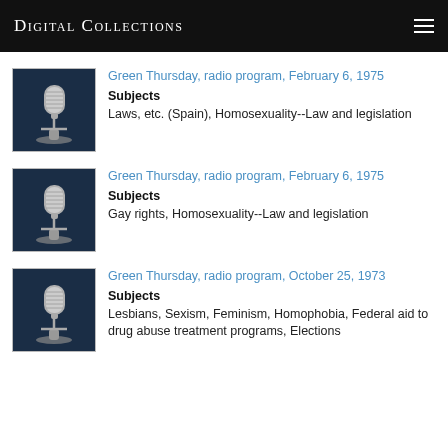Digital Collections
Green Thursday, radio program, February 6, 1975
Subjects
Laws, etc. (Spain), Homosexuality--Law and legislation
Green Thursday, radio program, February 6, 1975
Subjects
Gay rights, Homosexuality--Law and legislation
Green Thursday, radio program, October 25, 1973
Subjects
Lesbians, Sexism, Feminism, Homophobia, Federal aid to drug abuse treatment programs, Elections